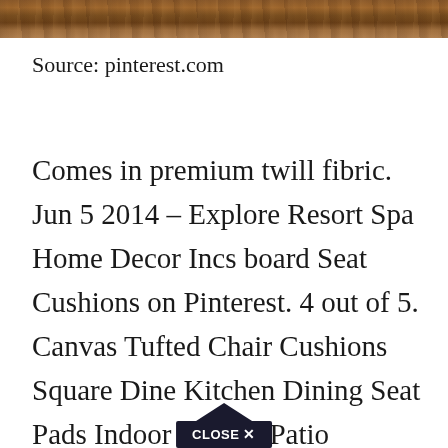[Figure (photo): Top strip of a wood grain / wooden surface photo, cropped at the top of the page]
Source: pinterest.com
Comes in premium twill fibric. Jun 5 2014 – Explore Resort Spa Home Decor Incs board Seat Cushions on Pinterest. 4 out of 5. Canvas Tufted Chair Cushions Square Dine Kitchen Dining Seat Pads Indoor Wicker Patio Rocking Chair Pillow Printed Floral Thick Cotton. Dining Chair Cushions Gripper Memory Foam Seat Pads Indoor Kitchen Linen Chair Pad w Velcro